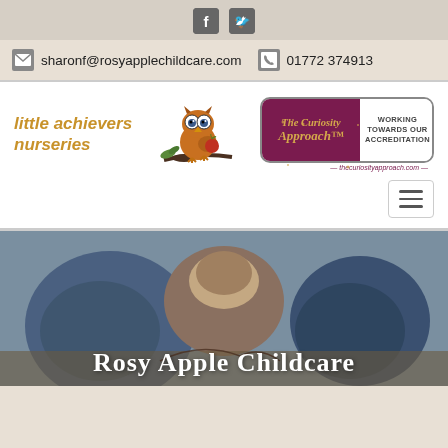[Figure (logo): Facebook and Twitter social media icons in grey rounded square buttons]
sharonf@rosyapplechildcare.com  01772 374913
[Figure (logo): little achievers nurseries logo with owl mascot and The Curiosity Approach accreditation badge]
[Figure (other): Hamburger menu button]
[Figure (photo): Children in blue raincoats outdoors, with text 'Rosy Apple Childcare' overlaid in white serif font]